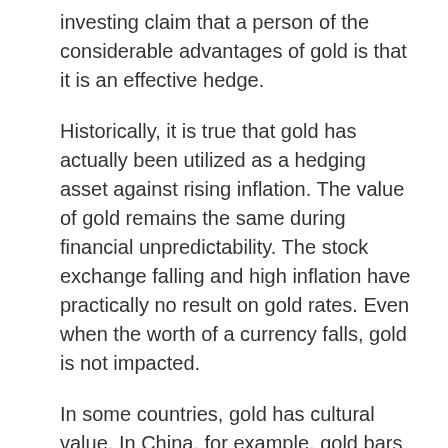investing claim that a person of the considerable advantages of gold is that it is an effective hedge.
Historically, it is true that gold has actually been utilized as a hedging asset against rising inflation. The value of gold remains the same during financial unpredictability. The stock exchange falling and high inflation have practically no result on gold rates. Even when the worth of a currency falls, gold is not impacted.
In some countries, gold has cultural value. In China, for example, gold bars are the normal form of saving, so the gold market broadened. For